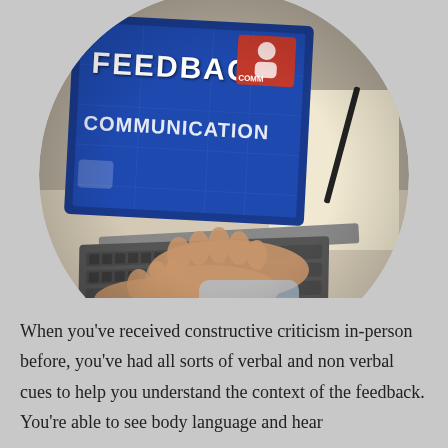[Figure (photo): A circular cropped photo of a person typing on a laptop. The laptop screen displays the words 'FEEDBACK', 'COMMUNICATION' in large white bold text on a blue background, with a red badge showing 'COMM' in the top right corner of the screen.]
When you've received constructive criticism in-person before, you've had all sorts of verbal and non verbal cues to help you understand the context of the feedback. You're able to see body language and hear